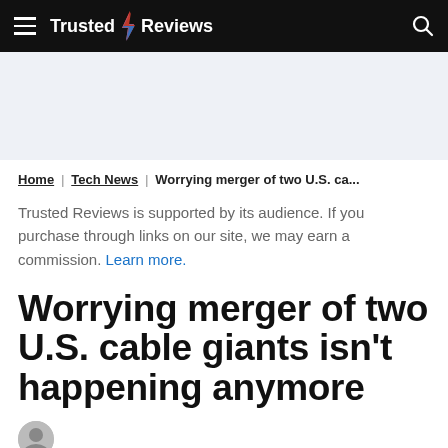Trusted Reviews
Home | Tech News | Worrying merger of two U.S. ca...
Trusted Reviews is supported by its audience. If you purchase through links on our site, we may earn a commission. Learn more.
Worrying merger of two U.S. cable giants isn't happening anymore